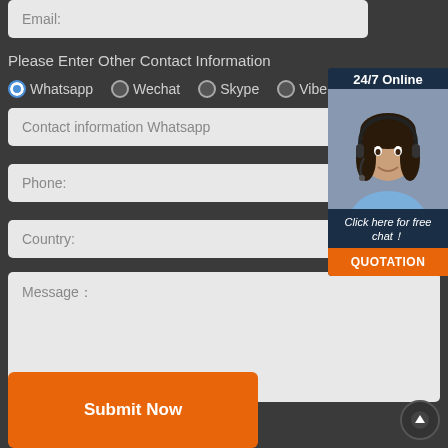Email:
Please Enter Other Contact Information
Whatsapp (selected), Wechat, Skype, Viber
Contact information Whatsapp
Phone:
Country:
Message:
[Figure (photo): Customer service representative with headset, 24/7 Online chat popup with QUOTATION button]
Submit Now